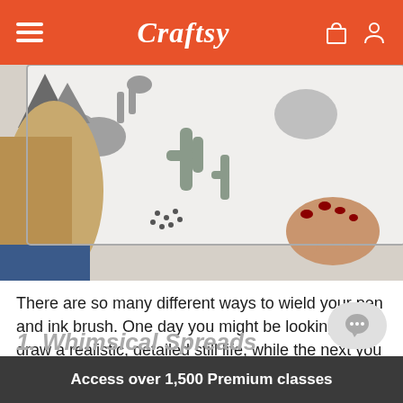Craftsy
[Figure (photo): Person with red-painted nails drawing or illustrating on a large sheet of paper with whimsical grey illustrations of cacti, animals, and shapes]
There are so many different ways to wield your pen and ink brush. One day you might be looking to draw a realistic, detailed still life, while the next you want to go for something a bit more vibrant and loosey-goosey. Regardless of where your instincts take you, there's a pen and ink drawing you'll love making, all while sharpening your skills.
1. Whimsical Spreads
Access over 1,500 Premium classes